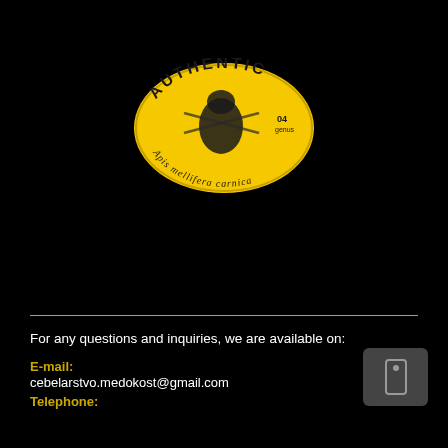[Figure (logo): Oval yellow logo with text 'AUTHENTIC' at top, 'Apis mellifera carnica' at bottom in italic, a bee illustration in center, and '04 genus' on the right side.]
For any questions and inquiries, we are available on:
E-mail:
cebelarstvo.medokost@gmail.com
Telephone: